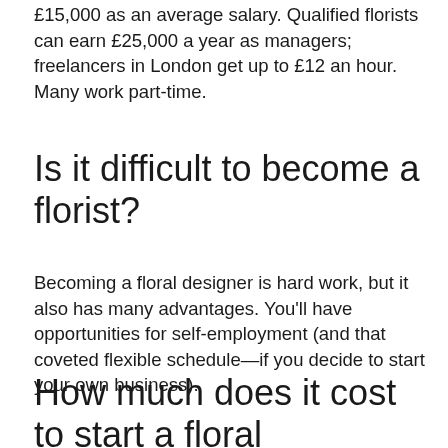£15,000 as an average salary. Qualified florists can earn £25,000 a year as managers; freelancers in London get up to £12 an hour. Many work part-time.
Is it difficult to become a florist?
Becoming a floral designer is hard work, but it also has many advantages. You'll have opportunities for self-employment (and that coveted flexible schedule—if you decide to start your own business).
How much does it cost to start a floral business?